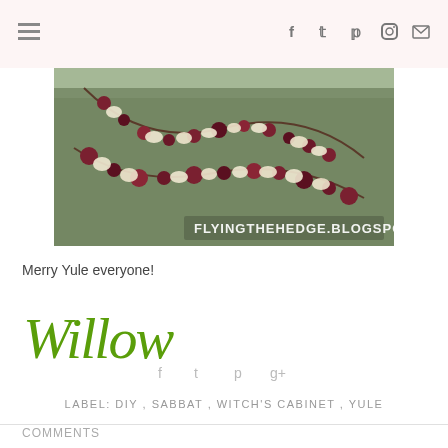Navigation and social icons header bar
[Figure (photo): Outdoor photo of a garland made of cranberries, popcorn, and ornamental balls hung between bare tree branches, with text overlay: FLYINGTHEHEDGE.BLOGSPOT.COM]
Merry Yule everyone!
[Figure (illustration): Decorative script signature reading 'Willow' in green cursive font]
Social share icons: Facebook, Twitter, Pinterest, Google+
LABEL: DIY , SABBAT , WITCH'S CABINET , YULE
COMMENTS